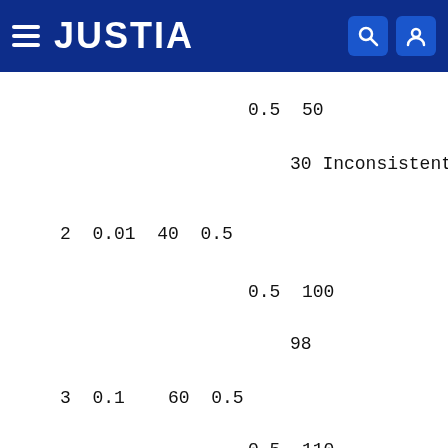JUSTIA
0.5  50
30 Inconsistent
2  0.01  40  0.5
0.5  100
98
3  0.1   60  0.5
0.5  110
99